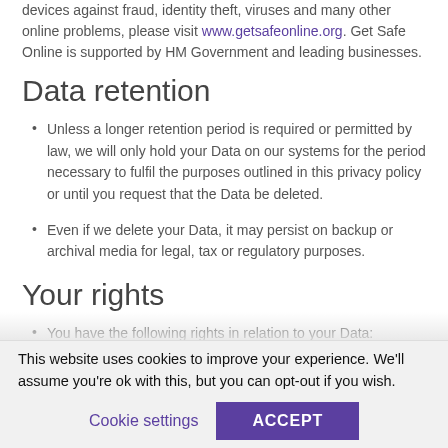devices against fraud, identity theft, viruses and many other online problems, please visit www.getsafeonline.org. Get Safe Online is supported by HM Government and leading businesses.
Data retention
Unless a longer retention period is required or permitted by law, we will only hold your Data on our systems for the period necessary to fulfil the purposes outlined in this privacy policy or until you request that the Data be deleted.
Even if we delete your Data, it may persist on backup or archival media for legal, tax or regulatory purposes.
Your rights
You have the following rights in relation to your Data:
This website uses cookies to improve your experience. We'll assume you're ok with this, but you can opt-out if you wish.
Cookie settings | ACCEPT